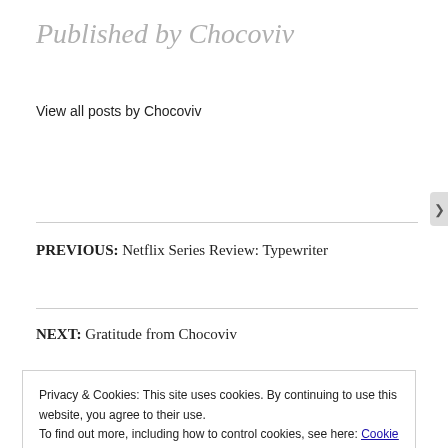Published by Chocoviv
View all posts by Chocoviv
PREVIOUS: Netflix Series Review: Typewriter
NEXT: Gratitude from Chocoviv
Privacy & Cookies: This site uses cookies. By continuing to use this website, you agree to their use.
To find out more, including how to control cookies, see here: Cookie Policy
Close and accept